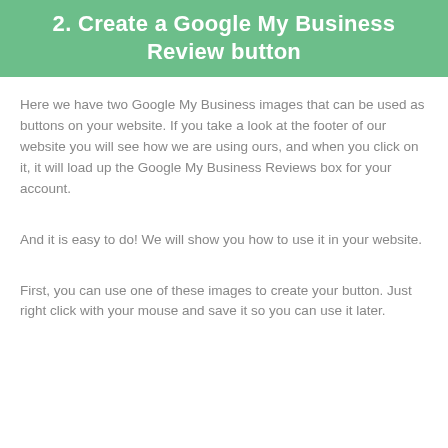2. Create a Google My Business Review button
Here we have two Google My Business images that can be used as buttons on your website. If you take a look at the footer of our website you will see how we are using ours, and when you click on it, it will load up the Google My Business Reviews box for your account.
And it is easy to do! We will show you how to use it in your website.
First, you can use one of these images to create your button. Just right click with your mouse and save it so you can use it later.